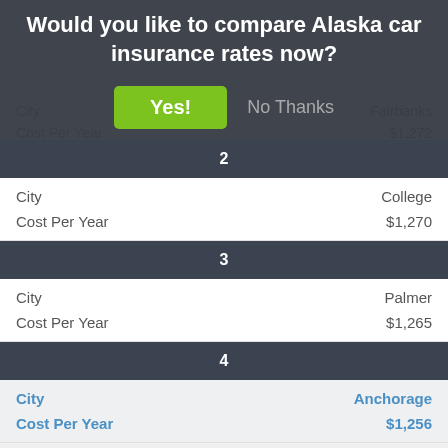Would you like to compare Alaska car insurance rates now?
|  |  |
| --- | --- |
| 2 |  |
| City | College |
| Cost Per Year | $1,270 |
| 3 |  |
| City | Palmer |
| Cost Per Year | $1,265 |
| 4 |  |
| City | Anchorage |
| Cost Per Year | $1,256 |